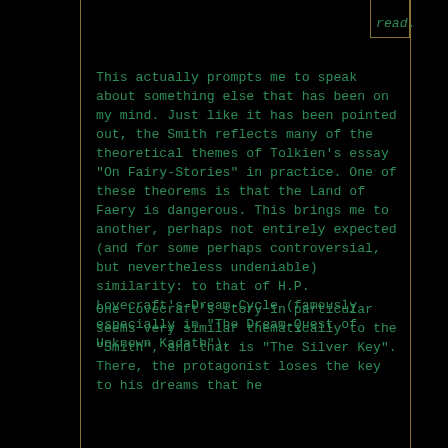read.
This actually prompts me to speak about something else that has been on my mind. Just like it has been pointed out, the Smith reflects many of the theoretical themes of Tolkien's essay "On Fairy-Stories" in practice. One of these theorems is that the Land of Faery is dangerous. This brings me to another, perhaps not entirely expected (and for some perhaps controversial, but nevertheless undeniable) similarity: to that of H.P. Lovecraft's Dream-Cycle (famously especially in "The Dream-Quest of Unknown Kadath").
One Lovecraft's story in particular seems very similar thematically to the "Smith", and that is "The Silver Key". There, the protagonist loses the key to his dreams that he